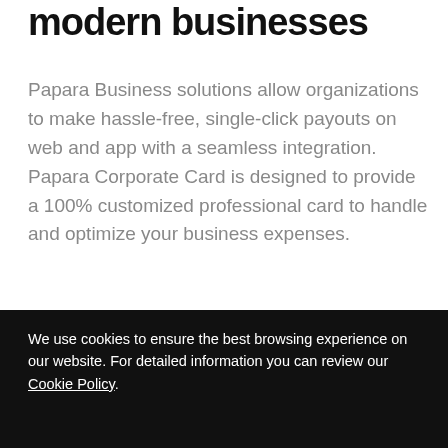modern businesses
Papara Business solutions allow organizations to make hassle-free, single-click payouts on web and app with a seamless integration. Papara Corporate Card is designed to provide a 100% customized professional card to handle and optimize your business expenses.
Learn More
We use cookies to ensure the best browsing experience on our website. For detailed information you can review our Cookie Policy.